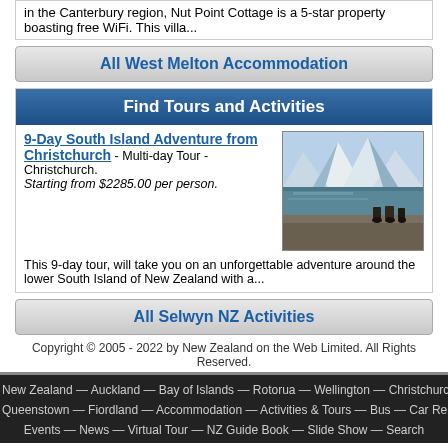in the Canterbury region, Nut Point Cottage is a 5-star property boasting free WiFi. This villa...
All West Melton Accommodation
Find Tours and Activities
9-Day South Island Adventure from Christchurch - Multi-day Tour - Christchurch. Starting from $2285.00 per person.
[Figure (photo): Mountain landscape with snow-capped peaks, a lake, and motorcyclists in foreground]
This 9-day tour, will take you on an unforgettable adventure around the lower South Island of New Zealand with a...
All Selwyn NZ Activities
Copyright © 2005 - 2022 by New Zealand on the Web Limited. All Rights Reserved.
New Zealand — Auckland — Bay of Islands — Rotorua — Wellington — Christchurch — Queenstown — Fiordland — Accommodation — Activities & Tours — Bus — Car Rental — Events — News — Virtual Tour — NZ Guide Book — Slide Show — Search